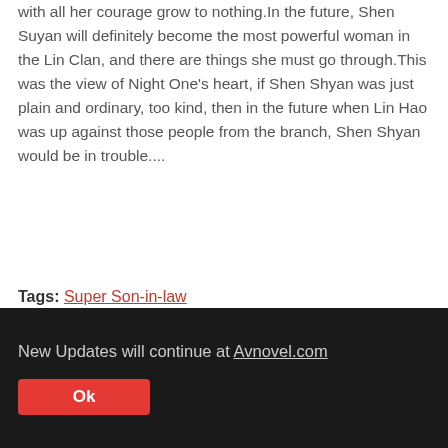with all her courage grow to nothing.In the future, Shen Suyan will definitely become the most powerful woman in the Lin Clan, and there are things she must go through.This was the view of Night One's heart, if Shen Shyan was just plain and ordinary, too kind, then in the future when Lin Hao was up against those people from the branch, Shen Shyan would be in trouble....
Tags: Super Son-in-law
[Figure (infographic): Social share bar with Facebook, Twitter, Reddit, WhatsApp, Email, and More buttons]
Aureity
New Updates will continue at Avnovel.com
Ok